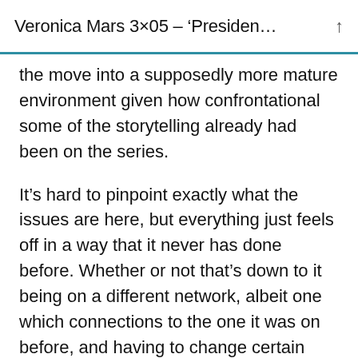Veronica Mars 3×05 – 'Presiden...↑
the move into a supposedly more mature environment given how confrontational some of the storytelling already had been on the series.
It’s hard to pinpoint exactly what the issues are here, but everything just feels off in a way that it never has done before. Whether or not that’s down to it being on a different network, albeit one which connections to the one it was on before, and having to change certain aspects of itself, but five episodes into this season, it’s hard to shift the feeling that there’s been some sort